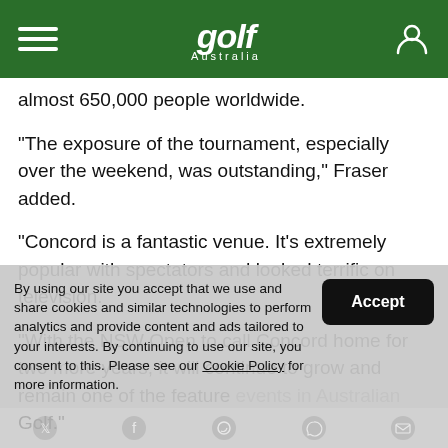golf Australia
almost 650,000 people worldwide.
"The exposure of the tournament, especially over the weekend, was outstanding," Fraser added.
"Concord is a fantastic venue. It's extremely popular with spectators and looked terrific on television.
"With the NSW Open to call Concord home for two more years, it will continue to grow and remain one of the feature events in Australian Golf."
By using our site you accept that we use and share cookies and similar technologies to perform analytics and provide content and ads tailored to your interests. By continuing to use our site, you consent to this. Please see our Cookie Policy for more information.